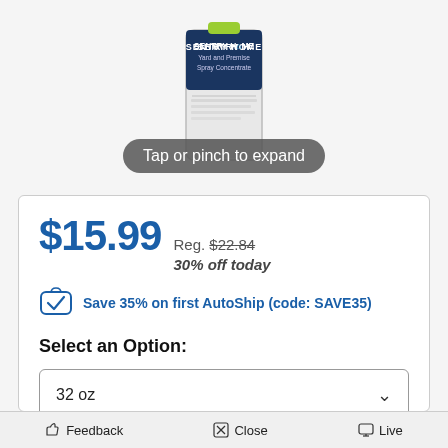[Figure (photo): Sentry Home Yard and Premise Spray Concentrate product bottle with 'Tap or pinch to expand' overlay pill]
$15.99  Reg. $22.84  30% off today
Save 35% on first AutoShip (code: SAVE35)
Select an Option:
32 oz
Feedback   Close   Live